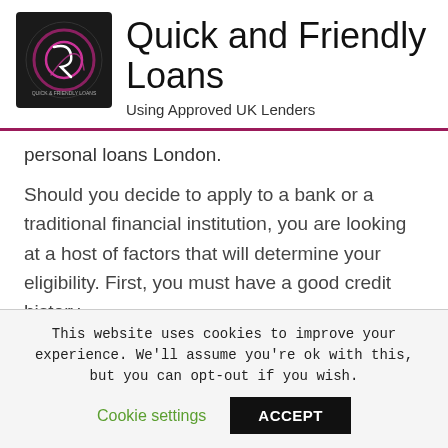[Figure (logo): Quick and Friendly Loans circular logo on dark background]
Quick and Friendly Loans
Using Approved UK Lenders
personal loans London.
Should you decide to apply to a bank or a traditional financial institution, you are looking at a host of factors that will determine your eligibility. First, you must have a good credit history.
This website uses cookies to improve your experience. We'll assume you're ok with this, but you can opt-out if you wish.
Cookie settings
ACCEPT